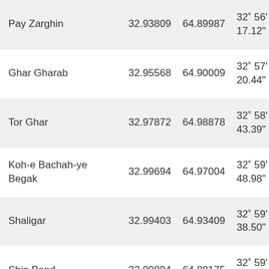| Name | Lat (dec) | Lon (dec) | Lat (DMS) | Lon (DMS) |
| --- | --- | --- | --- | --- |
| Pay Zarghin | 32.93809 | 64.89987 | 32° 56' 17.12" N | 6…5… |
| Ghar Gharab | 32.95568 | 64.90009 | 32° 57' 20.44" N | 6… |
| Tor Ghar | 32.97872 | 64.98878 | 32° 58' 43.39" N | 1… |
| Koh-e Bachah-ye Begak | 32.99694 | 64.97004 | 32° 59' 48.98" N | 1… |
| Shaligar | 32.99403 | 64.93409 | 32° 59' 38.50" N | 0… |
| Shin Band | 32.99894 | 64.88175 | 32° 59' 56.18" N | 5… |